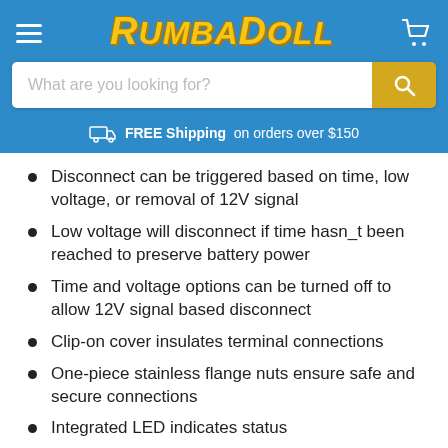[Figure (logo): RumbaDoll logo in yellow italic bold text on blue background header]
What are you looking for?
FREE Shipping on orders over $150
Disconnect can be triggered based on time, low voltage, or removal of 12V signal
Low voltage will disconnect if time hasn_t been reached to preserve battery power
Time and voltage options can be turned off to allow 12V signal based disconnect
Clip-on cover insulates terminal connections
One-piece stainless flange nuts ensure safe and secure connections
Integrated LED indicates status